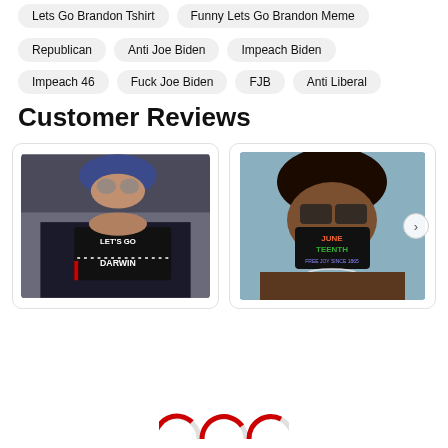Lets Go Brandon Tshirt
Funny Lets Go Brandon Meme
Republican
Anti Joe Biden
Impeach Biden
Impeach 46
Fuck Joe Biden
FJB
Anti Liberal
Customer Reviews
[Figure (photo): Person wearing a 'Let's Go Darwin' face mask, holding it up to show the text]
[Figure (photo): Person wearing a colorful 'Juneteenth' face mask]
[Figure (other): Partial gauge/rating chart at bottom of page, three circular gauges visible]